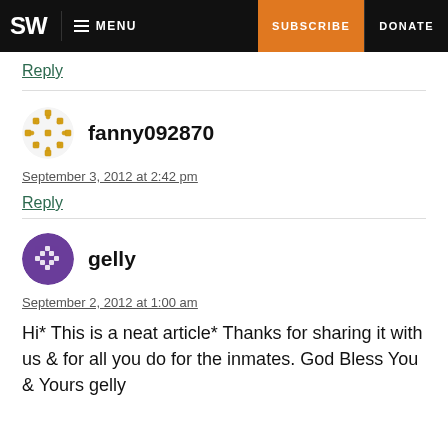SW MENU SUBSCRIBE DONATE
Reply
fanny092870
September 3, 2012 at 2:42 pm
Reply
gelly
September 2, 2012 at 1:00 am
Hi* This is a neat article* Thanks for sharing it with us & for all you do for the inmates. God Bless You & Yours gelly